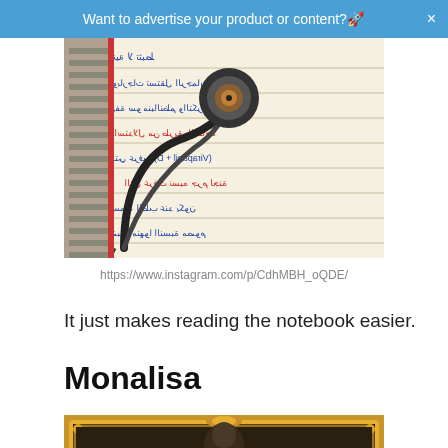Want to advertise your product or content?🚀 ×
[Figure (photo): A stethoscope resting on a notebook with Arabic handwritten medical notes in blue and red ink]
https://www.instagram.com/p/CdhMBH_oQDE/
It just makes reading the notebook easier.
Monalisa
[Figure (photo): A painting in a golden ornate frame, partially visible, appears to be the Mona Lisa]